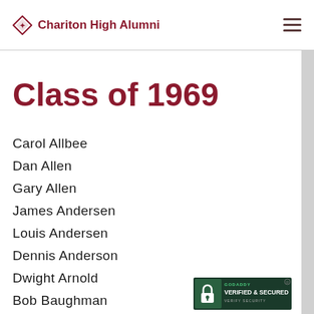Chariton High Alumni
Class of 1969
Carol Allbee
Dan Allen
Gary Allen
James Andersen
Louis Andersen
Dennis Anderson
Dwight Arnold
Bob Baughman
[Figure (logo): GoDaddy Verified & Secured badge]